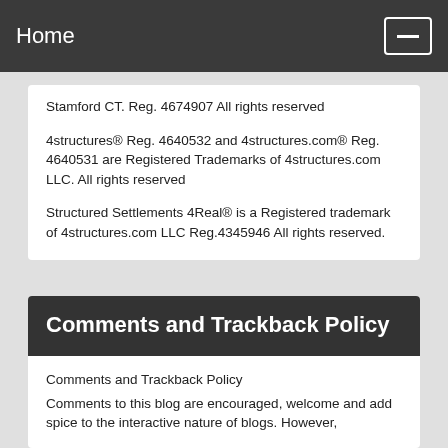Home
Stamford CT. Reg. 4674907 All rights reserved
4structures® Reg. 4640532 and 4structures.com® Reg. 4640531 are Registered Trademarks of 4structures.com LLC. All rights reserved
Structured Settlements 4Real® is a Registered trademark of 4structures.com LLC Reg.4345946 All rights reserved.
Comments and Trackback Policy
Comments and Trackback Policy
Comments to this blog are encouraged, welcome and add spice to the interactive nature of blogs. However,